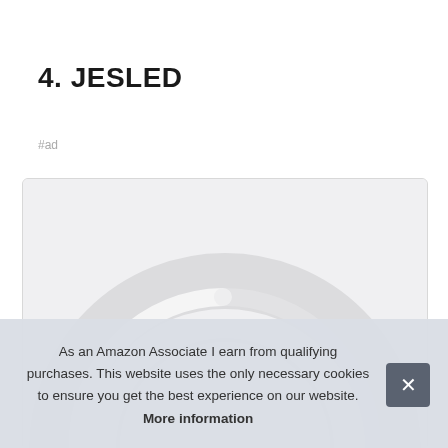4. JESLED
#ad
[Figure (photo): Product photo showing a circular/arch-shaped LED tube light against a light background, viewed from above showing the arch shape.]
As an Amazon Associate I earn from qualifying purchases. This website uses the only necessary cookies to ensure you get the best experience on our website. More information